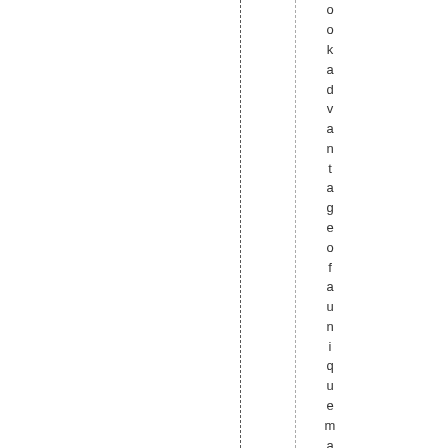ookadvantageofauniquemarketing